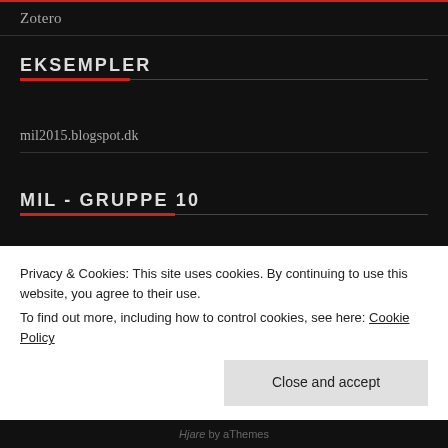Zotero
EKSEMPLER
mil2015.blogspot.dk
MIL - GRUPPE 10
Anja Emilie Madsen
Henriette Hansen
Steen Juhl Møller
Privacy & Cookies: This site uses cookies. By continuing to use this website, you agree to their use.
To find out more, including how to control cookies, see here: Cookie Policy
Hjare by aThemes